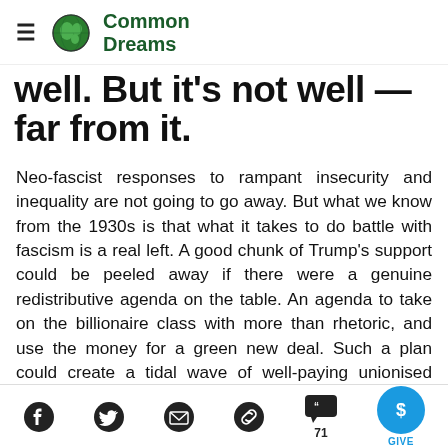Common Dreams
well. But it's not well — far from it.
Neo-fascist responses to rampant insecurity and inequality are not going to go away. But what we know from the 1930s is that what it takes to do battle with fascism is a real left. A good chunk of Trump's support could be peeled away if there were a genuine redistributive agenda on the table. An agenda to take on the billionaire class with more than rhetoric, and use the money for a green new deal. Such a plan could create a tidal wave of well-paying unionised jobs, bring
Social share icons: Facebook, Twitter, Email, Link, Comments (71), Give